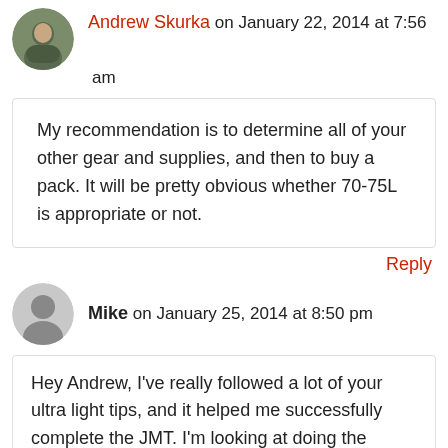Andrew Skurka on January 22, 2014 at 7:56 am
My recommendation is to determine all of your other gear and supplies, and then to buy a pack. It will be pretty obvious whether 70-75L is appropriate or not.
Reply
Mike on January 25, 2014 at 8:50 pm
Hey Andrew, I've really followed a lot of your ultra light tips, and it helped me successfully complete the JMT. I'm looking at doing the Laugavegur Trail this August with a buddy. I have the MLD Trailstar (used it on the JMT), would you recommend it here? Would